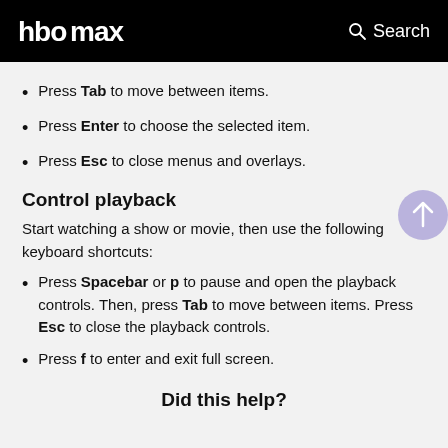HBO Max   Search
Press Tab to move between items.
Press Enter to choose the selected item.
Press Esc to close menus and overlays.
Control playback
Start watching a show or movie, then use the following keyboard shortcuts:
Press Spacebar or p to pause and open the playback controls. Then, press Tab to move between items. Press Esc to close the playback controls.
Press f to enter and exit full screen.
Did this help?